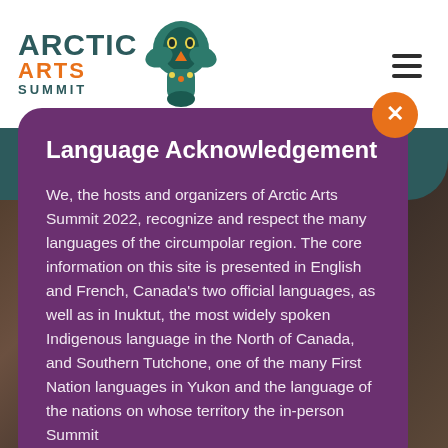[Figure (logo): Arctic Arts Summit logo with teal text and orange 'ARTS' and Indigenous totem-style graphic]
Language Acknowledgement
We, the hosts and organizers of Arctic Arts Summit 2022, recognize and respect the many languages of the circumpolar region. The core information on this site is presented in English and French, Canada's two official languages, as well as in Inuktut, the most widely spoken Indigenous language in the North of Canada, and Southern Tutchone, one of the many First Nation languages in Yukon and the language of the nations on whose territory the in-person Summit